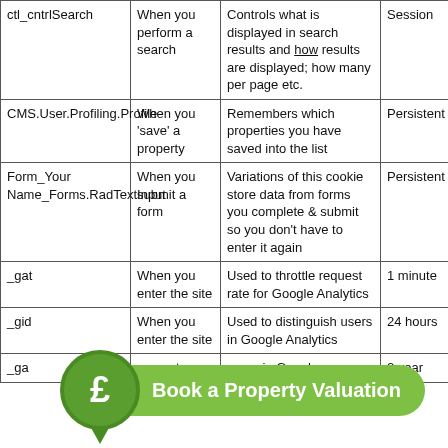| Cookie Name | When Set | Purpose | Expiry |
| --- | --- | --- | --- |
| ctl_cntrlSearch | When you perform a search | Controls what is displayed in search results and how results are displayed; how many per page etc. | Session |
| CMS.User.Profiling.Profile | When you 'save' a property | Remembers which properties you have saved into the list | Persistent |
| Form_Your Name_Forms.RadTextInput | When you submit a form | Variations of this cookie store data from forms you complete & submit so you don't have to enter it again | Persistent |
| _gat | When you enter the site | Used to throttle request rate for Google Analytics | 1 minute |
| _gid | When you enter the site | Used to distinguish users in Google Analytics | 24 hours |
| _ga | When you enter the site | users in Google ... | 2 year |